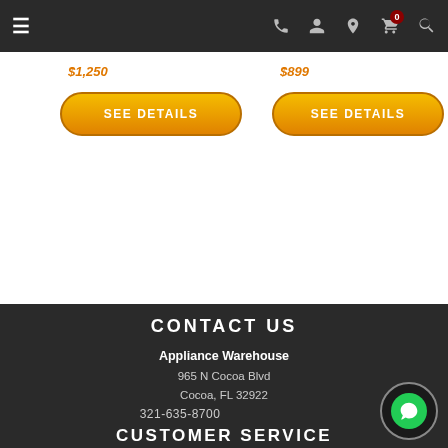Navigation bar with menu, phone, account, location, cart (0), and search icons
[Figure (screenshot): Two product cards each with a price (partially visible, in orange italic text) and a gold 'SEE DETAILS' button]
CONTACT US
Appliance Warehouse
965 N Cocoa Blvd
Cocoa, FL 32922
321-635-8700
CUSTOMER SERVICE